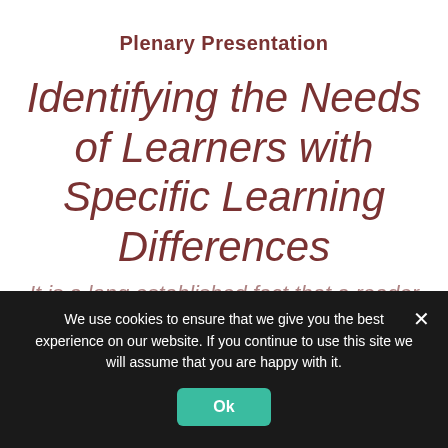Plenary Presentation
Identifying the Needs of Learners with Specific Learning Differences
We use cookies to ensure that we give you the best experience on our website. If you continue to use this site we will assume that you are happy with it.
Ok